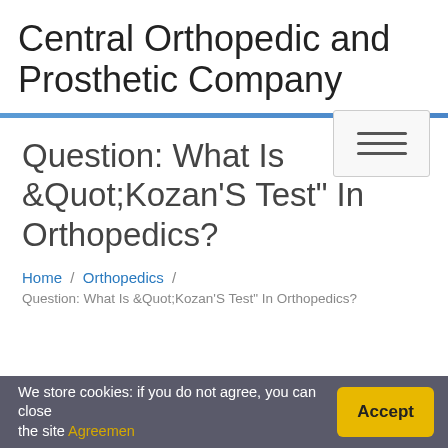Central Orthopedic and Prosthetic Company
Question: What Is &Quot;Kozan'S Test" In Orthopedics?
Home / Orthopedics / Question: What Is &Quot;Kozan'S Test" In Orthopedics?
We store cookies: if you do not agree, you can close the site Agreemen